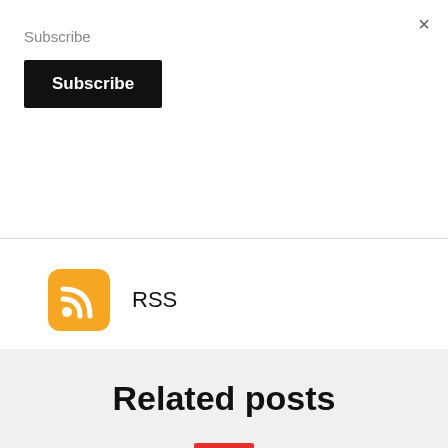×
Subscribe
Subscribe
[Figure (logo): RSS orange icon with WiFi/feed symbol]
RSS
[Figure (logo): Castro teal podcast app icon with circular target symbol]
Castro
Related posts